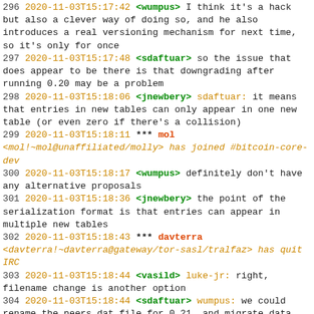296 2020-11-03T15:17:42 <wumpus> I think it's a hack but also a clever way of doing so, and he also introduces a real versioning mechanism for next time, so it's only for once
297 2020-11-03T15:17:48 <sdaftuar> so the issue that does appear to be there is that downgrading after running 0.20 may be a problem
298 2020-11-03T15:18:06 <jnewbery> sdaftuar: it means that entries in new tables can only appear in one new table (or even zero if there's a collision)
299 2020-11-03T15:18:11 *** mol <mol!~mol@unaffiliated/molly> has joined #bitcoin-core-dev
300 2020-11-03T15:18:17 <wumpus> definitely don't have any alternative proposals
301 2020-11-03T15:18:36 <jnewbery> the point of the serialization format is that entries can appear in multiple new tables
302 2020-11-03T15:18:43 *** davterra <davterra!~davterra@gateway/tor-sasl/tralfaz> has quit IRC
303 2020-11-03T15:18:44 <vasild> luke-jr: right, filename change is another option
304 2020-11-03T15:18:44 <sdaftuar> wumpus: we could rename the peers.dat file for 0.21, and migrate data from the old file to the new one?
305 2020-11-03T15:19:23 *** Pavlenex <Pavlenex!~Thunderbi@141.98.103.251> has joined